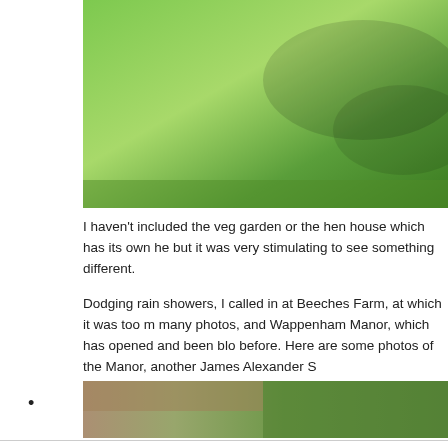[Figure (photo): Aerial or elevated view of a green lawn garden with shadows from trees]
I haven't included the veg garden or the hen house which has its own he but it was very stimulating to see something different.
Dodging rain showers, I called in at Beeches Farm, at which it was too m many photos, and Wappenham Manor, which has opened and been blo before. Here are some photos of the Manor, another James Alexander S
•
[Figure (photo): Partial view of a garden with brick wall and green foliage]
Privacy & Cookies: This site uses cookies. By continuing to use this website, you agree to their use.
To find out more, including how to control cookies, see here: Cookie Policy
Close and accept
[Figure (photo): Garden photo showing colorful flowers including pink and white blooms]